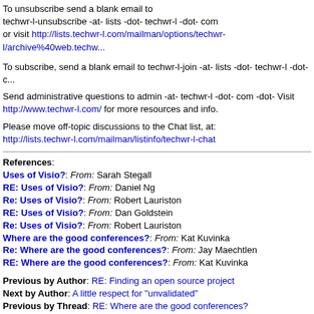To unsubscribe send a blank email to techwr-l-unsubscribe -at- lists -dot- techwr-l -dot- com or visit http://lists.techwr-l.com/mailman/options/techwr-l/archive%40web.techw...
To subscribe, send a blank email to techwr-l-join -at- lists -dot- techwr-l -dot- c...
Send administrative questions to admin -at- techwr-l -dot- com -dot- Visit http://www.techwr-l.com/ for more resources and info.
Please move off-topic discussions to the Chat list, at: http://lists.techwr-l.com/mailman/listinfo/techwr-l-chat
References:
Uses of Visio?: From: Sarah Stegall
RE: Uses of Visio?: From: Daniel Ng
Re: Uses of Visio?: From: Robert Lauriston
RE: Uses of Visio?: From: Dan Goldstein
Re: Uses of Visio?: From: Robert Lauriston
Where are the good conferences?: From: Kat Kuvinka
Re: Where are the good conferences?: From: Jay Maechtlen
RE: Where are the good conferences?: From: Kat Kuvinka
Previous by Author: RE: Finding an open source project
Next by Author: A little respect for "unvalidated"
Previous by Thread: RE: Where are the good conferences?
Next by Thread: Re: Where are the good conferences?